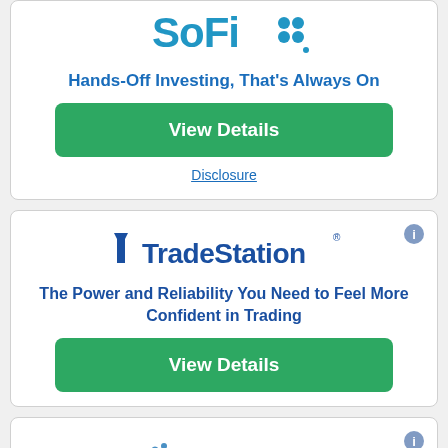[Figure (logo): SoFi logo with blue text and dot grid icon]
Hands-Off Investing, That's Always On
View Details
Disclosure
[Figure (logo): TradeStation logo with blue arrow/T icon and company name]
The Power and Reliability You Need to Feel More Confident in Trading
View Details
[Figure (logo): Facet logo with blue dot pattern and company name]